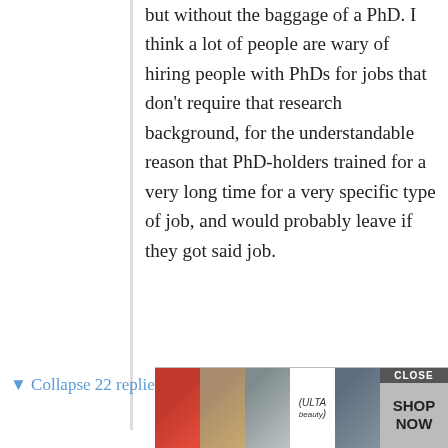but without the baggage of a PhD. I think a lot of people are wary of hiring people with PhDs for jobs that don't require that research background, for the understandable reason that PhD-holders trained for a very long time for a very specific type of job, and would probably leave if they got said job.
▼ Collapse 22 replies
Eukomos
February 13, 2019 at 6:52 pm
That's something of a misconception, the idea that PhDs are still waiting for the tenure track faculty job and just killing time at an industry job. PhDs with a job somewhere else cannot leave it for academia in most cases, the instant yo the
[Figure (other): Ulta Beauty advertisement banner with makeup/beauty images and SHOP NOW button with CLOSE overlay]